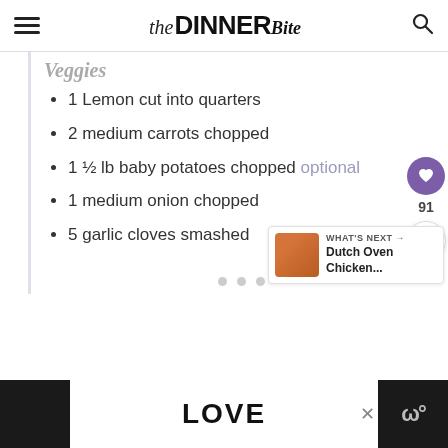the DINNER Bite
Veggies
1 Lemon cut into quarters
2 medium carrots chopped
1 ½ lb baby potatoes chopped optional
1 medium onion chopped
5 garlic cloves smashed
WHAT'S NEXT → Dutch Oven Chicken...
[Figure (advertisement): Ad banner showing decorative LOVE text with ornamental black and white lettering design, with a close button and app icon on the right side.]